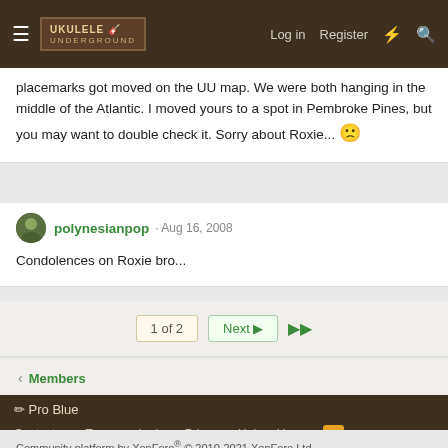Ukulele Underground — Log in  Register
placemarks got moved on the UU map. We were both hanging in the middle of the Atlantic. I moved yours to a spot in Pembroke Pines, but you may want to double check it. Sorry about Roxie... 🙁
polynesianpop · Aug 16, 2008
Condolences on Roxie bro...
1 of 2  Next ▶  ▶▶
< Members
🖊 Pro Blue
Contact us  Terms and rules  Privacy  Help  Home  [RSS]
Community platform by XenForo® © 2010-2021 XenForo Ltd.